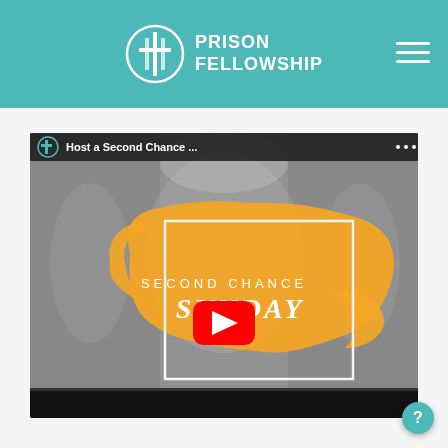Prison Fellowship
[Figure (screenshot): YouTube video thumbnail for 'Host a Second Chance Sunday' with Prison Fellowship branding. Shows a large orange paint stroke graphic with 'SECOND CHANCE SUNDAY' text and a YouTube play button in the center. The video player has a dark black control bar at the bottom.]